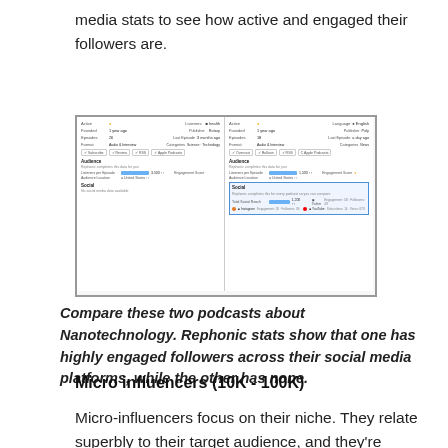media stats to see how active and engaged their followers are.
[Figure (screenshot): Two side-by-side podcast profile screenshots from Rephonic, showing stats panels including Audience, Social sections. The right panel's Social section is highlighted in blue, showing Twitter and YouTube engagement data.]
Compare these two podcasts about Nanotechnology. Rephonic stats show that one has highly engaged followers across their social media platforms, while the other has none.
Micro influencers (10K - 100K)
Micro-influencers focus on their niche. They relate superbly to their target audience, and they're usually